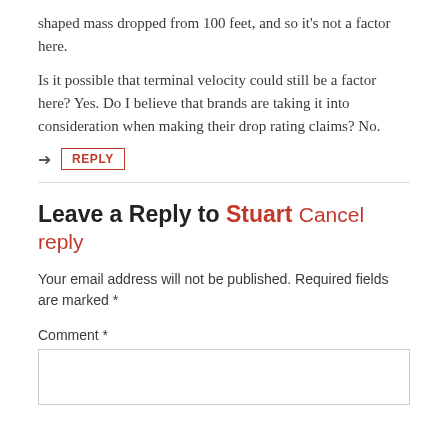shaped mass dropped from 100 feet, and so it’s not a factor here.
Is it possible that terminal velocity could still be a factor here? Yes. Do I believe that brands are taking it into consideration when making their drop rating claims? No.
REPLY
Leave a Reply to Stuart Cancel reply
Your email address will not be published. Required fields are marked *
Comment *